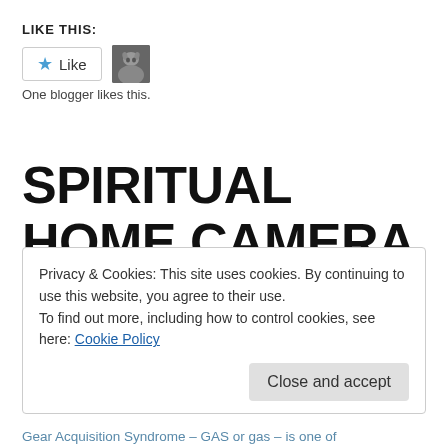LIKE THIS:
[Figure (other): Like button widget with blue star icon and a small cat avatar photo. Text below reads 'One blogger likes this.']
One blogger likes this.
SPIRITUAL HOME CAMERA
Privacy & Cookies: This site uses cookies. By continuing to use this website, you agree to their use.
To find out more, including how to control cookies, see here: Cookie Policy
Close and accept
Gear Acquisition Syndrome – GAS or gas – is one of